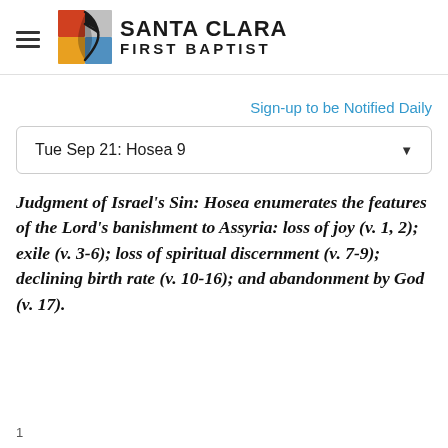SANTA CLARA FIRST BAPTIST
Sign-up to be Notified Daily
Tue Sep 21: Hosea 9
Judgment of Israel's Sin: Hosea enumerates the features of the Lord's banishment to Assyria: loss of joy (v. 1, 2); exile (v. 3-6); loss of spiritual discernment (v. 7-9); declining birth rate (v. 10-16); and abandonment by God (v. 17).
1